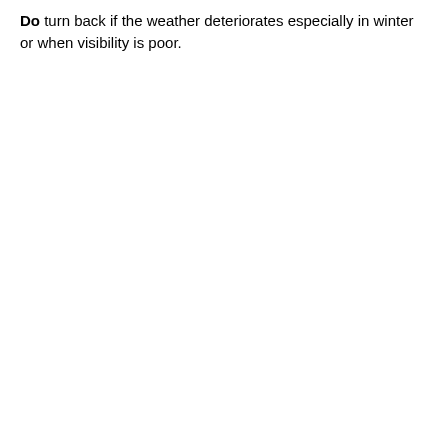Do turn back if the weather deteriorates especially in winter or when visibility is poor.